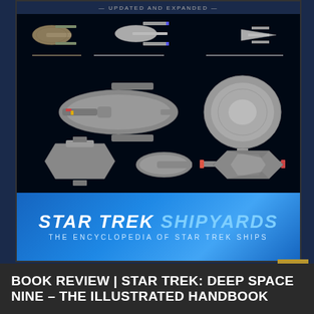[Figure (illustration): Book cover of 'Star Trek Shipyards: The Encyclopedia of Star Trek Ships' — Updated and Expanded edition. Dark background with multiple Star Trek spacecraft displayed including Voyager, Enterprise-E, and Deep Space Nine-related vessels. Bottom portion has a bright blue banner with the book title in white and light blue italic text.]
BOOK REVIEW | STAR TREK: DEEP SPACE NINE – THE ILLUSTRATED HANDBOOK